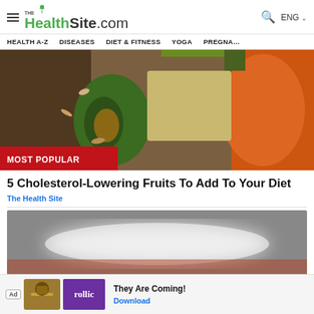THE HealthSite.com — ENG
HEALTH A-Z | DISEASES | DIET & FITNESS | YOGA | PREGNA…
[Figure (photo): Food items including avocado, oats, seeds, lentils on a wooden surface with MOST POPULAR red badge overlay]
5 Cholesterol-Lowering Fruits To Add To Your Diet
The Health Site
[Figure (photo): Blurred/dark grey photo, content not clearly visible]
Ad — rollic — They Are Coming! — Download